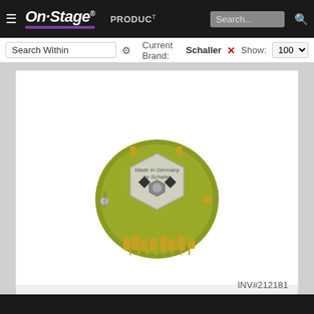On Stage — PRODUCTS — Search... | Search Within | Current Brand: Schaller | Show: 100
[Figure (photo): Close-up photo of a Schaller guitar pickup selector switch component, gold/green PCB with 'Made in Germany by Schaller' text, viewed from above against white background]
15310013
SCH 15310013
INV#212181